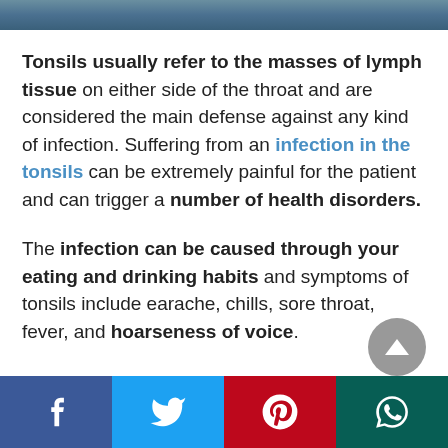[Figure (photo): Partial photo strip at top of page showing a blurred image]
Tonsils usually refer to the masses of lymph tissue on either side of the throat and are considered the main defense against any kind of infection. Suffering from an infection in the tonsils can be extremely painful for the patient and can trigger a number of health disorders.
The infection can be caused through your eating and drinking habits and symptoms of tonsils include earache, chills, sore throat, fever, and hoarseness of voice.
[Figure (illustration): Grey circular scroll-to-top button with upward triangle arrow]
[Figure (infographic): Social sharing bar with Facebook, Twitter, Pinterest, and WhatsApp buttons]